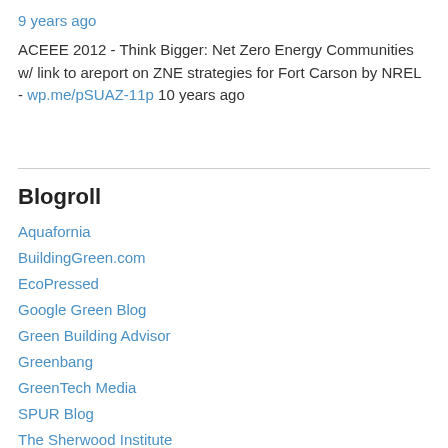9 years ago
ACEEE 2012 - Think Bigger: Net Zero Energy Communities w/ link to areport on ZNE strategies for Fort Carson by NREL - wp.me/pSUAZ-11p 10 years ago
Blogroll
Aquafornia
BuildingGreen.com
EcoPressed
Google Green Blog
Green Building Advisor
Greenbang
GreenTech Media
SPUR Blog
The Sherwood Institute
Tiny House Blog
Waste Zero (Recology)